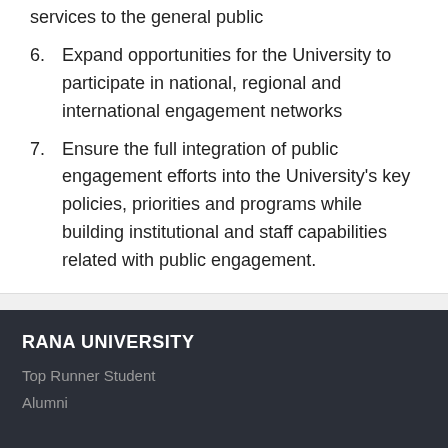services to the general public
6. Expand opportunities for the University to participate in national, regional and international engagement networks
7. Ensure the full integration of public engagement efforts into the University's key policies, priorities and programs while building institutional and staff capabilities related with public engagement.
RANA UNIVERSITY
Top Runner Student
Alumni